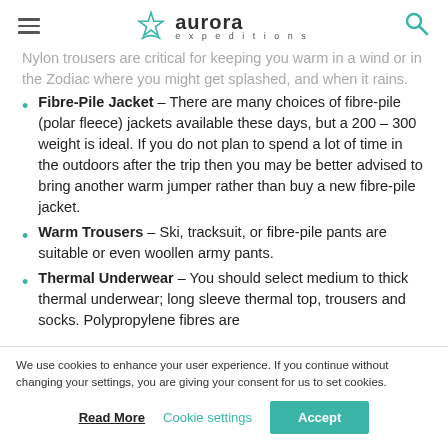Aurora Expeditions
Nylon trousers are critical for keeping you warm in a wind or in the Zodiac where you might get splashed, and when it rains.
Fibre-Pile Jacket – There are many choices of fibre-pile (polar fleece) jackets available these days, but a 200 – 300 weight is ideal. If you do not plan to spend a lot of time in the outdoors after the trip then you may be better advised to bring another warm jumper rather than buy a new fibre-pile jacket.
Warm Trousers – Ski, tracksuit, or fibre-pile pants are suitable or even woollen army pants.
Thermal Underwear – You should select medium to thick thermal underwear; long sleeve thermal top, trousers and socks. Polypropylene fibres are
We use cookies to enhance your user experience. If you continue without changing your settings, you are giving your consent for us to set cookies.
Read More   Cookie settings   Accept